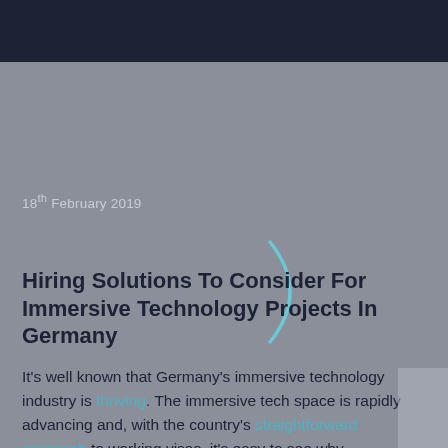18th February 2019
Hiring Solutions To Consider For Immersive Technology Projects In Germany
It's well known that Germany's immersive technology industry is thriving. The immersive tech space is rapidly advancing and, with the country's straightforward approach to working visas, it's easy to see why. Commercial spaces and working conditions are so much more affordable in the German capital that it's